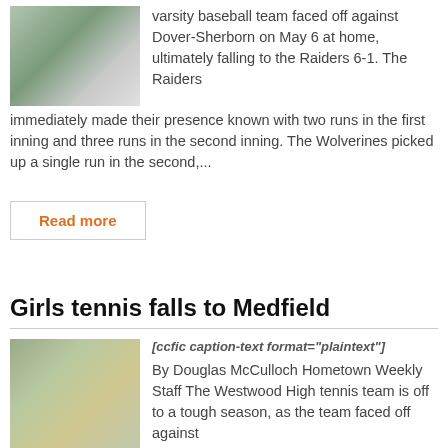[Figure (photo): Baseball player pitching or running on a field]
varsity baseball team faced off against Dover-Sherborn on May 6 at home, ultimately falling to the Raiders 6-1. The Raiders immediately made their presence known with two runs in the first inning and three runs in the second inning. The Wolverines picked up a single run in the second,...
Read more
Girls tennis falls to Medfield
[Figure (photo): Female tennis player in green outfit on a court]
[ccfic caption-text format="plaintext"]
By Douglas McCulloch Hometown Weekly Staff The Westwood High tennis team is off to a tough season, as the team faced off against Medfield on April 29. The Wolverines fell to Medfield with a